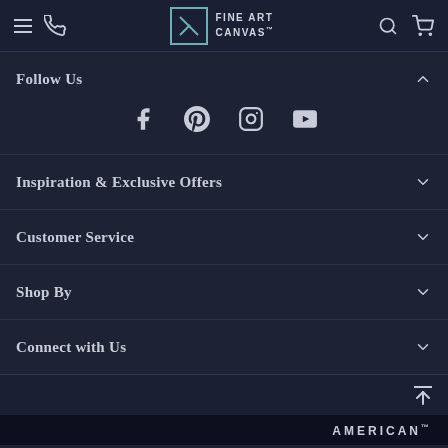Fine Art Canvas — navigation header with hamburger menu, phone icon, logo, search, and cart icons
Follow Us
[Figure (other): Social media icons row: Facebook, Pinterest, Instagram, YouTube]
Inspiration & Exclusive Offers
Customer Service
Shop By
Connect with Us
AMERICAN